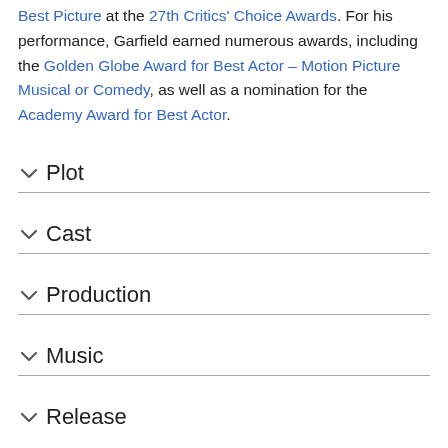Best Picture at the 27th Critics' Choice Awards. For his performance, Garfield earned numerous awards, including the Golden Globe Award for Best Actor – Motion Picture Musical or Comedy, as well as a nomination for the Academy Award for Best Actor.
Plot
Cast
Production
Music
Release